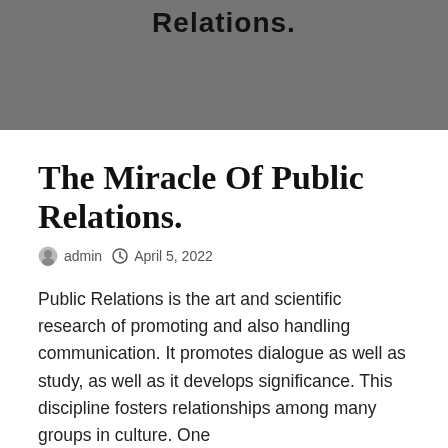Relations.
The Miracle Of Public Relations.
admin  April 5, 2022
Public Relations is the art and scientific research of promoting and also handling communication. It promotes dialogue as well as study, as well as it develops significance. This discipline fosters relationships among many groups in culture. One